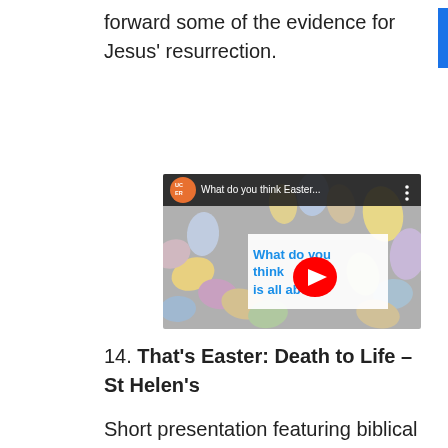forward some of the evidence for Jesus' resurrection.
[Figure (screenshot): YouTube video thumbnail showing colorful Easter eggs with text overlay 'What do you think Easter is all about?' and YouTube play button. Channel logo shows 'UCER' in orange circle. Title bar reads 'What do you think Easter...' with three-dot menu.]
14. That's Easter: Death to Life – St Helen's
Short presentation featuring biblical scholars